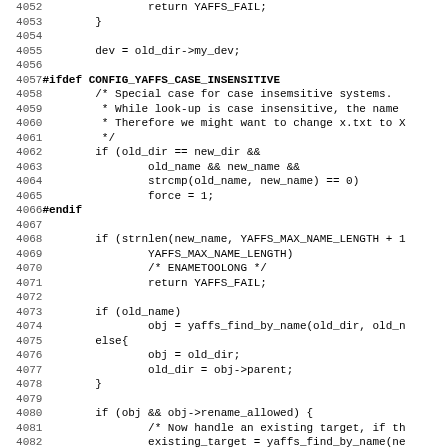Source code listing lines 4052-4083 showing YAFFS filesystem rename function implementation in C